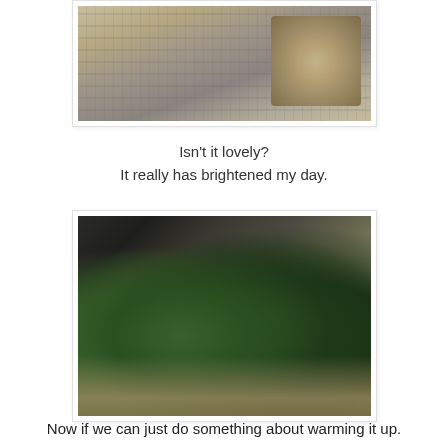[Figure (photo): Close-up photo of a burlap/jute woven sack or hanging planter against grey wooden shutters, cropped at top]
Isn't it lovely?
It really has brightened my day.
[Figure (photo): Close-up photo of green succulent plants growing out of a jute/burlap woven hanging basket against dark wooden slats]
Now if we can just do something about warming it up.